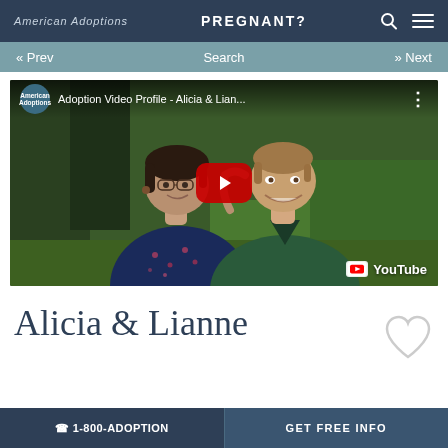American Adoptions   PREGNANT?
« Prev   Search   » Next
[Figure (screenshot): YouTube video thumbnail showing two women smiling outdoors, titled 'Adoption Video Profile - Alicia & Lian...' with American Adoptions logo and YouTube play button overlay]
Alicia & Lianne
☎ 1-800-ADOPTION   GET FREE INFO